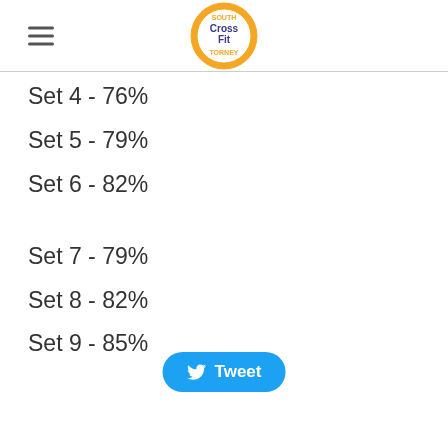South CrossFit Torney (logo)
Set 4 - 76%
Set 5 - 79%
Set 6 - 82%
Set 7 - 79%
Set 8 - 82%
Set 9 - 85%
Tweet